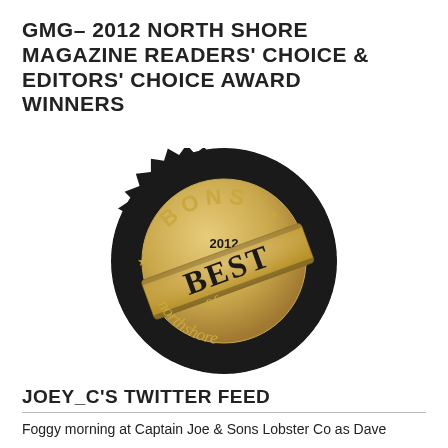GMG– 2012 NORTH SHORE MAGAZINE READERS' CHOICE & EDITORS' CHOICE AWARD WINNERS
[Figure (logo): Best of Northshore 2012 award badge — circular black and gold seal with zigzag edge, text 'BONS' at top with star, a gold diagonal banner reading 'BEST', '2012' above the banner, 'of' below, and 'northshore' in gold script at the bottom. Stars at left and right sides.]
JOEY_C'S TWITTER FEED
Foggy morning at Captain Joe & Sons Lobster Co as Dave